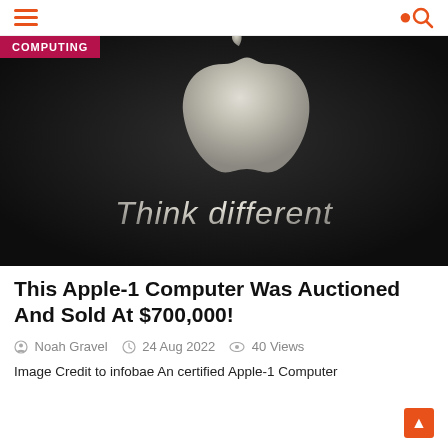[Figure (photo): Dark background with a metallic Apple logo and the text 'Think different' in silver italic lettering. A pink/magenta 'COMPUTING' label badge overlays the top-left corner.]
This Apple-1 Computer Was Auctioned And Sold At $700,000!
Noah Gravel  24 Aug 2022  40 Views
Image Credit to infobae An certified Apple-1 Computer